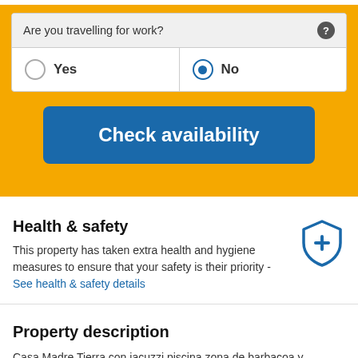Are you travelling for work?
Yes
No
Check availability
Health & safety
This property has taken extra health and hygiene measures to ensure that your safety is their priority - See health & safety details
Property description
Casa Madre Tierra con jacuzzi piscina zona de barbacoa y preciosas vistas is a holiday home located in Cómpeta, 22.4 miles